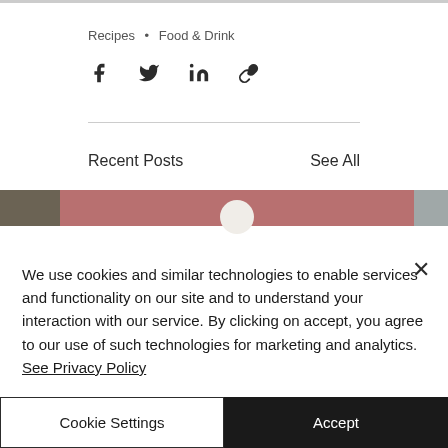Recipes • Food & Drink
[Figure (other): Social share icons: Facebook, Twitter, LinkedIn, link/copy]
[Figure (other): Recent posts image strip showing partial article thumbnail images]
Recent Posts
See All
We use cookies and similar technologies to enable services and functionality on our site and to understand your interaction with our service. By clicking on accept, you agree to our use of such technologies for marketing and analytics. See Privacy Policy
Cookie Settings
Accept